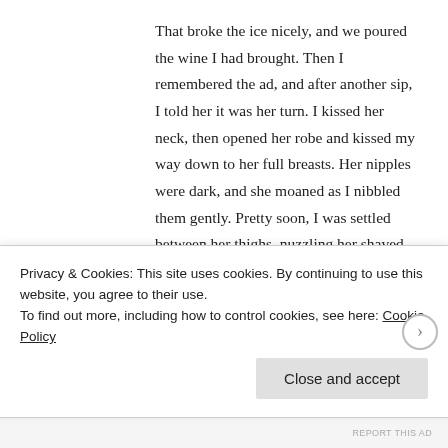That broke the ice nicely, and we poured the wine I had brought. Then I remembered the ad, and after another sip, I told her it was her turn. I kissed her neck, then opened her robe and kissed my way down to her full breasts. Her nipples were dark, and she moaned as I nibbled them gently. Pretty soon, I was settled between her thighs, nuzzling her shaved little pussy… my first! I stayed away from her clit for as long as I could, teasing her with long licks, slipping two fingers inside her, and making her squirm for release. Finally, I gave her what she wanted and flicked my tongue relentlessly across her clit, feeling her belly twitch with approaching orgasm. I grabbed her ass with both hands, pulling her tight against my
Privacy & Cookies: This site uses cookies. By continuing to use this website, you agree to their use.
To find out more, including how to control cookies, see here: Cookie Policy
Close and accept
REPORT THIS AD